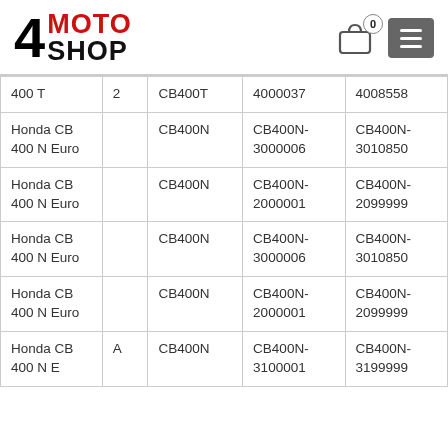4MOTOSHOP — logo, cart with 0 items, and menu button
| Model | Year | Frame | Frame From | Frame To |
| --- | --- | --- | --- | --- |
| 400 T | 2 | CB400T | 4000037 | 4008558 |
| Honda CB 400 N Euro |  | CB400N | CB400N-3000006 | CB400N-3010850 |
| Honda CB 400 N Euro |  | CB400N | CB400N-2000001 | CB400N-2099999 |
| Honda CB 400 N Euro |  | CB400N | CB400N-3000006 | CB400N-3010850 |
| Honda CB 400 N Euro |  | CB400N | CB400N-2000001 | CB400N-2099999 |
| Honda CB 400 N Euro | A | CB400N | CB400N-3100001 | CB400N-3199999 |